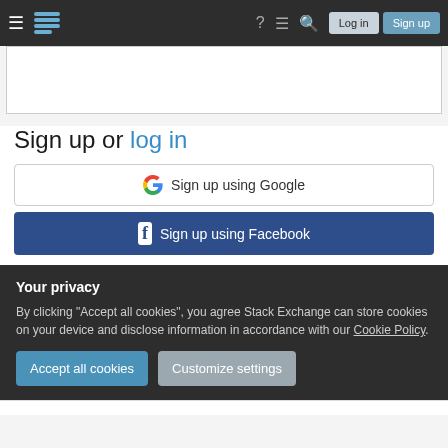Stack Exchange navigation bar with Log in and Sign up buttons
[Figure (screenshot): Empty white content box placeholder area]
Sign up or log in
[Figure (other): Sign up using Google button]
[Figure (other): Sign up using Facebook button]
Your privacy
By clicking "Accept all cookies", you agree Stack Exchange can store cookies on your device and disclose information in accordance with our Cookie Policy.
Accept all cookies | Customize settings